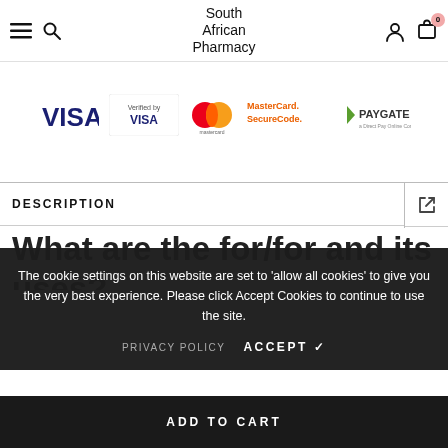South African Pharmacy
[Figure (logo): Payment method logos: VISA, Verified by VISA, Mastercard, MasterCard SecureCode, PayGate]
DESCRIPTION
What are the for/for and its uses?
The cookie settings on this website are set to 'allow all cookies' to give you the very best experience. Please click Accept Cookies to continue to use the site.
PRIVACY POLICY   ACCEPT ✓
ADD TO CART